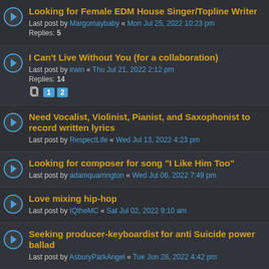Looking for Female EDM House Singer/Topline Writer
Last post by Margomaybaby « Mon Jul 25, 2022 10:23 pm
Replies: 5
I Can't Live Without You (for a collaboration)
Last post by irwin « Thu Jul 21, 2022 2:12 pm
Replies: 14
Need Vocalist, Violinist, Pianist, and Saxophonist to record written lyrics
Last post by RespectLife « Wed Jul 13, 2022 4:23 pm
Looking for composer for song "I Like Him Too"
Last post by adamquarrington « Wed Jul 06, 2022 7:49 pm
Love mixing hip-hop
Last post by IQtheMC « Sat Jul 02, 2022 9:10 am
Seeking producer-keyboardist for anti Suicide power ballad
Last post by AsburyParkAngel « Tue Jun 28, 2022 4:42 pm
Session SINGER available for sessions